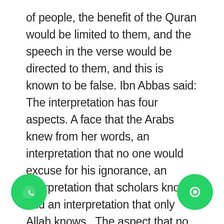of people, the benefit of the Quran would be limited to them, and the speech in the verse would be directed to them, and this is known to be false. Ibn Abbas said: The interpretation has four aspects. A face that the Arabs knew from her words, an interpretation that no one would excuse for his ignorance, an interpretation that scholars know, and an interpretation that only Allah knows.  The aspect that no one is excused for his ignorance is the knowledge of the clear rulings in it, the and influential exhortations, the strong and clear arguments, and the